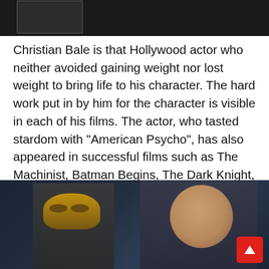[Figure (photo): Top portion of a photo showing a person in dark clothing against a dark background, with a smaller framed photo inset on the left side]
Christian Bale is that Hollywood actor who neither avoided gaining weight nor lost weight to bring life to his character. The hard work put in by him for the character is visible in each of his films. The actor, who tasted stardom with “American Psycho”, has also appeared in successful films such as The Machinist, Batman Begins, The Dark Knight, The Dark Knight Rises, 3:10 to Yuma and Terminator Salvation.
[Figure (photo): Photo showing two figures: a person in a Batman-style golden mask costume on the left, and a man with long hair resembling Thor on the right, against a dark background. A red scroll-to-top button is visible in the bottom-right corner.]